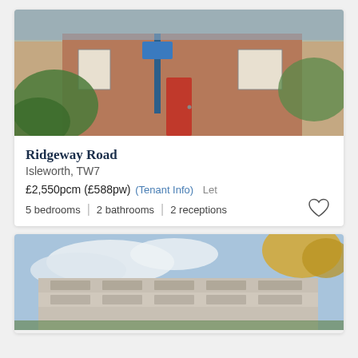[Figure (photo): Exterior photo of a red-brick terraced house with a red front door, green shrubbery, and street view]
Ridgeway Road
Isleworth, TW7
£2,550pcm (£588pw) (Tenant Info)  Let
5 bedrooms  |  2 bathrooms  |  2 receptions
[Figure (photo): Exterior photo of a modern apartment building with balconies, blue sky and autumn trees in the foreground]